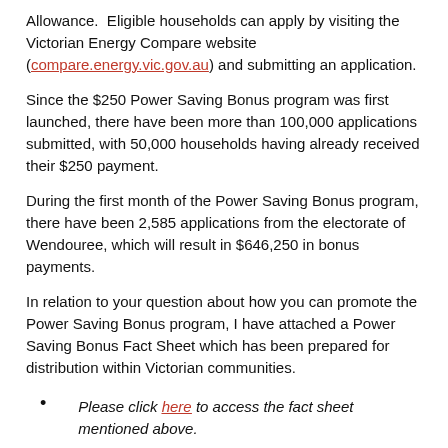Allowance.  Eligible households can apply by visiting the Victorian Energy Compare website (compare.energy.vic.gov.au) and submitting an application.
Since the $250 Power Saving Bonus program was first launched, there have been more than 100,000 applications submitted, with 50,000 households having already received their $250 payment.
During the first month of the Power Saving Bonus program, there have been 2,585 applications from the electorate of Wendouree, which will result in $646,250 in bonus payments.
In relation to your question about how you can promote the Power Saving Bonus program, I have attached a Power Saving Bonus Fact Sheet which has been prepared for distribution within Victorian communities.
Please click here to access the fact sheet mentioned above.